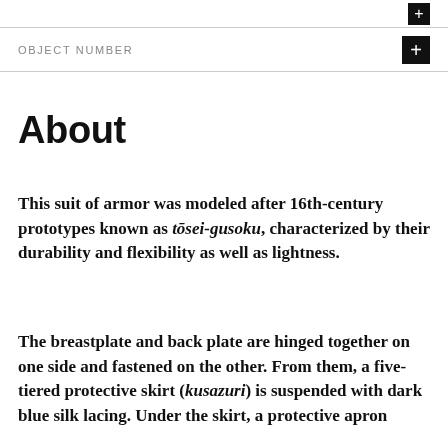OBJECT NUMBER
About
This suit of armor was modeled after 16th-century prototypes known as tōsei-gusoku, characterized by their durability and flexibility as well as lightness.
The breastplate and back plate are hinged together on one side and fastened on the other. From them, a five-tiered protective skirt (kusazuri) is suspended with dark blue silk lacing. Under the skirt, a protective apron